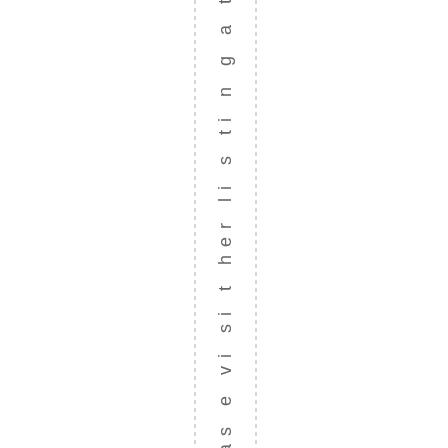as e vi si t her li s ti n g a t t h e S o u t h e